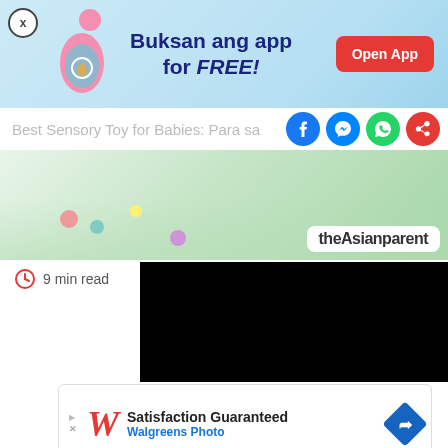[Figure (screenshot): Mobile app promotional banner with light blue background showing 'Buksan ang app for FREE!' text and an Open App button]
Best Sensory Toy for Babies: Para sa
[Figure (screenshot): Article hero image with colorful toys on white surface and theAsianparent logo badge]
9 min read
[Figure (screenshot): Black video player box]
[Figure (screenshot): Walgreens Photo advertisement: Satisfaction Guaranteed]
[Figure (screenshot): Bottom navigation bar with Tools, Articles, Home, Feed, Poll icons]
We use cookies to ensure you get the best experience.
Learn More    Ok, Got it